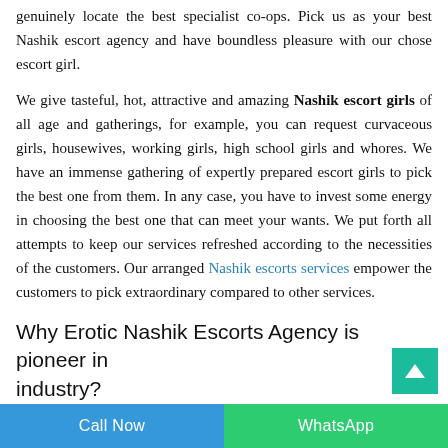genuinely locate the best specialist co-ops. Pick us as your best Nashik escort agency and have boundless pleasure with our chose escort girl.
We give tasteful, hot, attractive and amazing Nashik escort girls of all age and gatherings, for example, you can request curvaceous girls, housewives, working girls, high school girls and whores. We have an immense gathering of expertly prepared escort girls to pick the best one from them. In any case, you have to invest some energy in choosing the best one that can meet your wants. We put forth all attempts to keep our services refreshed according to the necessities of the customers. Our arranged Nashik escorts services empower the customers to pick extraordinary compared to other services.
Why Erotic Nashik Escorts Agency is pioneer in industry?
Only exquisite and staggering women are enlisted in our